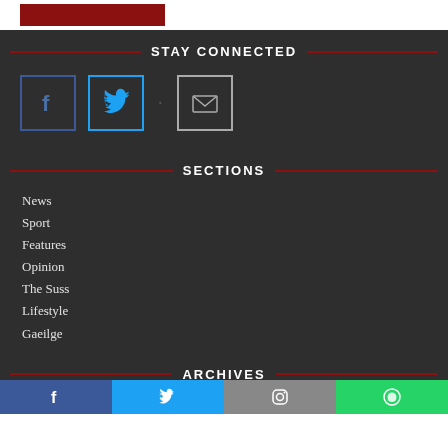[Figure (other): Red/maroon rectangular banner block at top of page]
STAY CONNECTED
[Figure (other): Row of three social media icon boxes: Facebook (blue border, f logo), Twitter (cyan border, bird logo), Email (grey border, envelope icon), separated by a dot between Twitter and Email]
SECTIONS
News
Sport
Features
Opinion
The Suss
Lifestyle
Gaeilge
ARCHIVES
[Figure (other): Bottom bar with four social media buttons: Facebook (blue), Twitter (light blue), Instagram (grey), WhatsApp (green)]